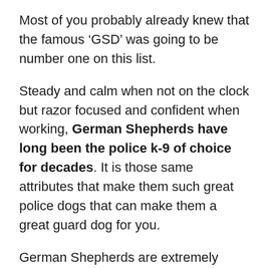Most of you probably already knew that the famous ‘GSD’ was going to be number one on this list.
Steady and calm when not on the clock but razor focused and confident when working, German Shepherds have long been the police k-9 of choice for decades. It is those same attributes that make them such great police dogs that can make them a great guard dog for you.
German Shepherds are extremely affectionate and generally a good, dependable members of the family even with children making him a standout choice for family-oriented protection dog.